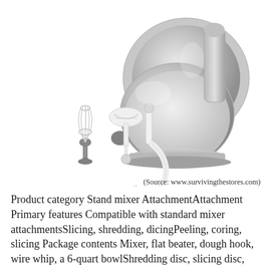[Figure (photo): A stainless steel KitchenAid stand mixer shown from the side, with attachments displayed in front: a wire whisk on the left, a white flat beater and dough hook in the center foreground.]
(Source: www.survivingthestores.com)
Product category Stand mixer AttachmentAttachment Primary features Compatible with standard mixer attachmentsSlicing, shredding, dicingPeeling, coring, slicing Package contents Mixer, flat beater, dough hook, wire whip, a 6-quart bowlShredding disc, slicing disc, julienne disc, dicing kit2 Slicing blades, 2 spiralizing blades, 1 peeling blade CLICK